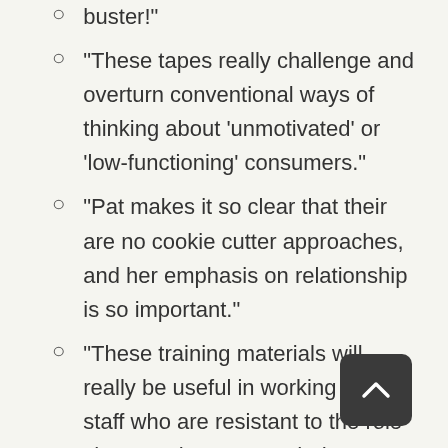"These tapes really challenge and overturn conventional ways of thinking about 'unmotivated' or 'low-functioning' consumers."
"Pat makes it so clear that their are no cookie cutter approaches, and her emphasis on relationship is so important."
"These training materials will really be useful in working with staff who are resistant to the role changes that are needed